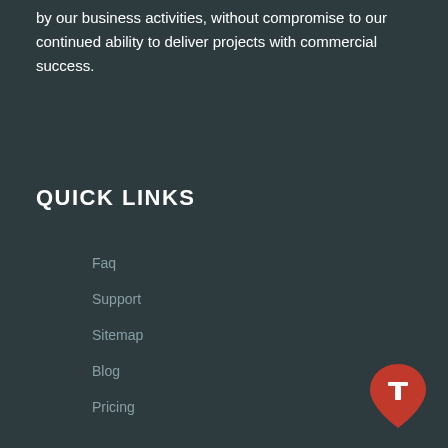by our business activities, without compromise to our continued ability to deliver projects with commercial success.
QUICK LINKS
Faq
Support
Sitemap
Blog
Pricing
[Figure (logo): Red map pin / location badge icon with a white hammer/tool symbol inside]